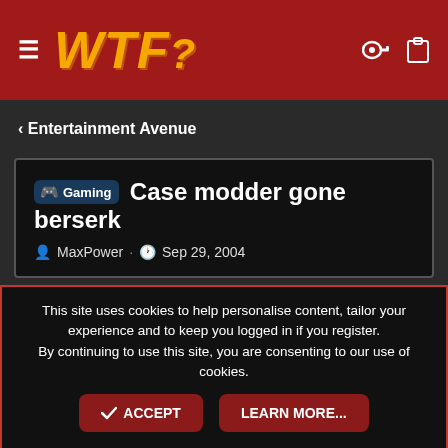WTF?
< Entertainment Avenue
Gaming Case modder gone berserk
MaxPower · Sep 29, 2004
MaxPower
Strike First Strike Hard  Staff
This site uses cookies to help personalise content, tailor your experience and to keep you logged in if you register.
By continuing to use this site, you are consenting to our use of cookies.
ACCEPT   LEARN MORE...